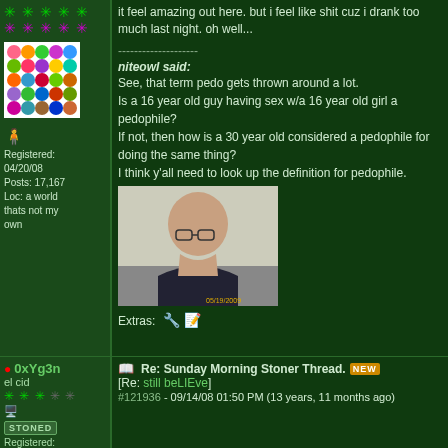it feel amazing out here. but i feel like shit cuz i drank too much last night. oh well...
--------------------
niteowl said:
See, that term pedo gets thrown around a lot.
Is a 16 year old guy having sex w/a 16 year old girl a pedophile?
If not, then how is a 30 year old considered a pedophile for doing the same thing?
I think y'all need to look up the definition for pedophile.
[Figure (photo): Photo of a bald man with glasses wearing a black tank top, dated 05/19/2009]
Extras:
Registered: 04/20/08
Posts: 17,167
Loc: a world thats not my own
0xYg3n
el cid
Re: Sunday Morning Stoner Thread. [NEW]
[Re: still beLIEve]
#121936 - 09/14/08 01:50 PM (13 years, 11 months ago)